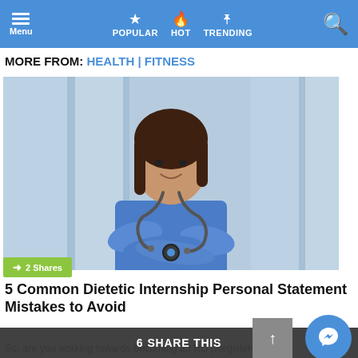Menu | POPULAR | HOT | TRENDING
MORE FROM: HEALTH | FITNESS
[Figure (photo): Female medical professional in blue scrubs with a stethoscope, arms crossed, smiling, blurred hospital background]
2 Shares
5 Common Dietetic Internship Personal Statement Mistakes to Avoid
So, are you working towards becoming an RD (Registered Die...
6 SHARE THIS